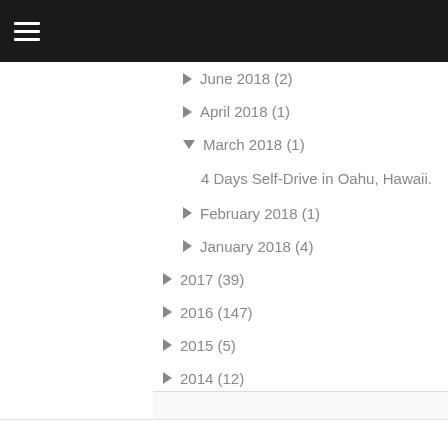≡
► June 2018 (2)
► April 2018 (1)
▼ March 2018 (1)
4 Days Self-Drive in Oahu, Hawaii.
► February 2018 (1)
► January 2018 (4)
► 2017 (39)
► 2016 (147)
► 2015 (5)
► 2014 (12)
► 2013 (3)